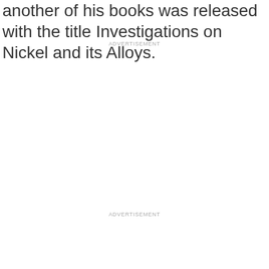another of his books was released with the title Investigations on Nickel and its Alloys.
ADVERTISEMENT
ADVERTISEMENT